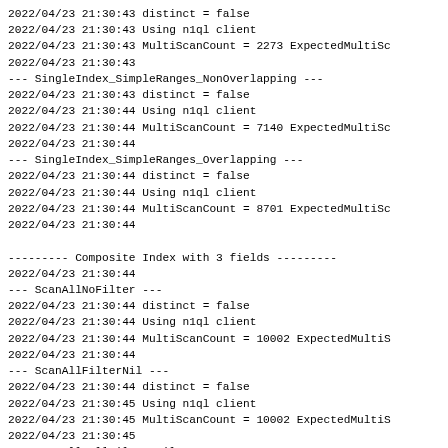2022/04/23 21:30:43 distinct = false
2022/04/23 21:30:43 Using n1ql client
2022/04/23 21:30:43 MultiScanCount = 2273 ExpectedMultiSc
2022/04/23 21:30:43
--- SingleIndex_SimpleRanges_NonOverlapping ---
2022/04/23 21:30:43 distinct = false
2022/04/23 21:30:44 Using n1ql client
2022/04/23 21:30:44 MultiScanCount = 7140 ExpectedMultiSc
2022/04/23 21:30:44
--- SingleIndex_SimpleRanges_Overlapping ---
2022/04/23 21:30:44 distinct = false
2022/04/23 21:30:44 Using n1ql client
2022/04/23 21:30:44 MultiScanCount = 8701 ExpectedMultiSc
2022/04/23 21:30:44

--------- Composite Index with 3 fields ---------
2022/04/23 21:30:44
--- ScanAllNoFilter ---
2022/04/23 21:30:44 distinct = false
2022/04/23 21:30:44 Using n1ql client
2022/04/23 21:30:44 MultiScanCount = 10002 ExpectedMultiS
2022/04/23 21:30:44
--- ScanAllFilterNil ---
2022/04/23 21:30:44 distinct = false
2022/04/23 21:30:45 Using n1ql client
2022/04/23 21:30:45 MultiScanCount = 10002 ExpectedMultiS
2022/04/23 21:30:45
--- ScanAll_AllFiltersNil ---
2022/04/23 21:30:45 distinct = false
2022/04/23 21:30:45 Using n1ql client